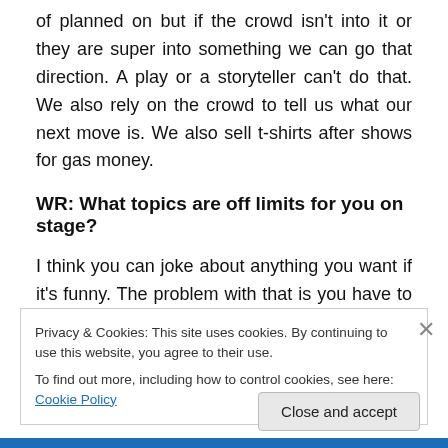of planned on but if the crowd isn't into it or they are super into something we can go that direction. A play or a storyteller can't do that. We also rely on the crowd to tell us what our next move is. We also sell t-shirts after shows for gas money.
WR: What topics are off limits for you on stage?
I think you can joke about anything you want if it's funny. The problem with that is you have to try it to see if it's funny. If it isn't, as in my case, I just move along. I don't
Privacy & Cookies: This site uses cookies. By continuing to use this website, you agree to their use.
To find out more, including how to control cookies, see here: Cookie Policy
Close and accept